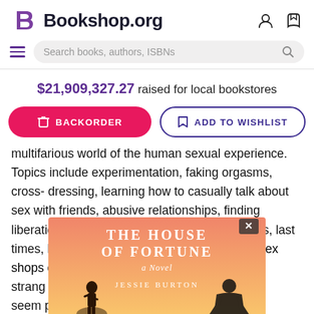Bookshop.org
Search books, authors, ISBNs
$21,909,327.27 raised for local bookstores
BACKORDER
ADD TO WISHLIST
multifarious world of the human sexual experience. Topics include experimentation, faking orgasms, cross-dressing, learning how to casually talk about sex with friends, abusive relationships, finding liberation through positive influences, first times, last times, health, age, identity, body image, what sex shops can seem p... ther's Meatlo... ories." -Albu...
[Figure (illustration): Book cover overlay for 'The House of Fortune: A Novel' by Jessie Burton, with a pink/orange gradient background and silhouetted figures.]